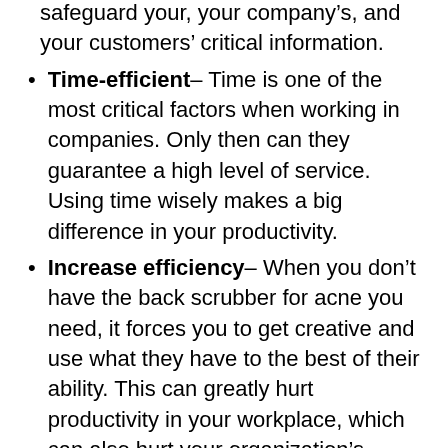safeguard your, your company's, and your customers' critical information.
Time-efficient– Time is one of the most critical factors when working in companies. Only then can they guarantee a high level of service. Using time wisely makes a big difference in your productivity.
Increase efficiency– When you don't have the back scrubber for acne you need, it forces you to get creative and use what they have to the best of their ability. This can greatly hurt productivity in your workplace, which can also hurt your organization's bottom line.
Convenience– The convenience of